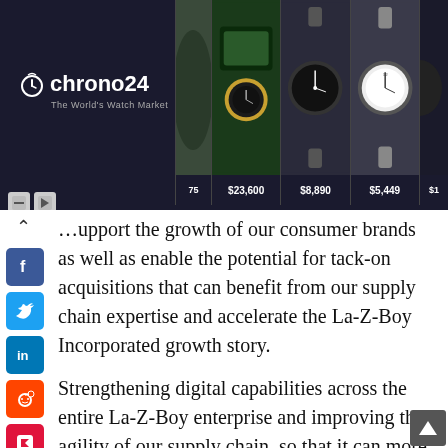[Figure (screenshot): Chrono24 watch advertisement banner showing multiple luxury watches with prices: $23,600, $8,890, $5,449]
support the growth of our consumer brands as well as enable the potential for tack-on acquisitions that can benefit from our supply chain expertise and accelerate the La-Z-Boy Incorporated growth story.
Strengthening digital capabilities across the entire La-Z-Boy enterprise and improving the agility of our supply chain, so that it can more broadly support all our customer brands will be key focus areas moving forward. All in, as we execute Century Vision, we expect to grow the topline higher-than-industry averages and deliver double-digit operating margins. We are proud of our near term results and excited for our future.